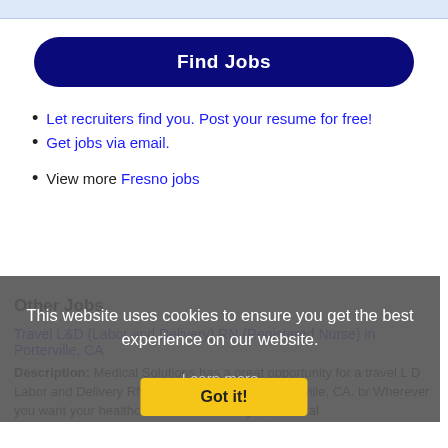[Figure (other): Top navigation/search bar stub (light blue strip at top)]
Find Jobs
Let recruiters find you. Post your resume for free!
Get jobs via email.
View more Fresno jobs
This website uses cookies to ensure you get the best experience on our website.
Learn more
Other Jobs
Got it!
Travel L&D (Labor and Delivery) RN (Registered Nurse) in Porterville, CA
Description: Medical Solutions has a great opportunity for a travel L D Labor and Delivery RN Registered Nurse in Porterville, CA. br Wherever you want your healthcare career to take you, Medical